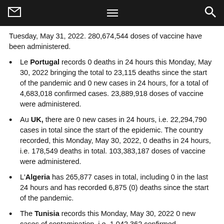[navigation bar with envelope, hamburger menu, and search icons]
Tuesday, May 31, 2022. 280,674,544 doses of vaccine have been administered.
Le Portugal records 0 deaths in 24 hours this Monday, May 30, 2022 bringing the total to 23,115 deaths since the start of the pandemic and 0 new cases in 24 hours, for a total of 4,683,018 confirmed cases. 23,889,918 doses of vaccine were administered.
Au UK, there are 0 new cases in 24 hours, i.e. 22,294,790 cases in total since the start of the epidemic. The country recorded, this Monday, May 30, 2022, 0 deaths in 24 hours, i.e. 178,549 deaths in total. 103,383,187 doses of vaccine were administered.
L'Algeria has 265,877 cases in total, including 0 in the last 24 hours and has recorded 6,875 (0) deaths since the start of the pandemic.
The Tunisia records this Monday, May 30, 2022 0 new cases of contamination, i.e. 1,042,362 confirmed